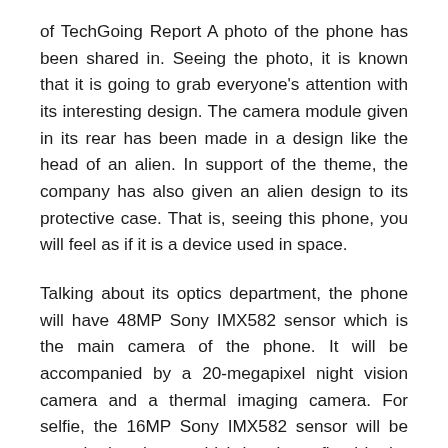of TechGoing Report A photo of the phone has been shared in. Seeing the photo, it is known that it is going to grab everyone's attention with its interesting design. The camera module given in its rear has been made in a design like the head of an alien. In support of the theme, the company has also given an alien design to its protective case. That is, seeing this phone, you will feel as if it is a device used in space.
Talking about its optics department, the phone will have 48MP Sony IMX582 sensor which is the main camera of the phone. It will be accompanied by a 20-megapixel night vision camera and a thermal imaging camera. For selfie, the 16MP Sony IMX582 sensor will be seen in the phone, which has been fitted in the waterdrop notch at the front.
DOOGEE S98 Pro will feature a 6.3-inch Full HD+ LCD display